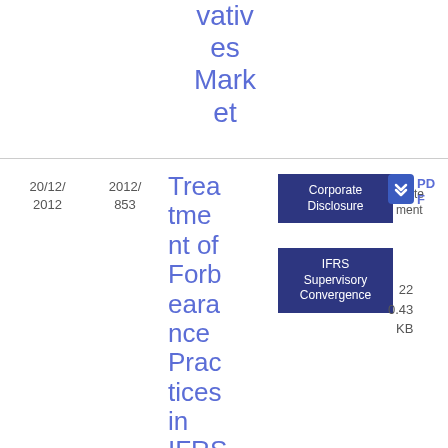vatives Market
| Date | Ref | Title | Topic | Type | Format | Pages/Size |
| --- | --- | --- | --- | --- | --- | --- |
| 20/12/2012 | 2012/853 | Treatment of Forbearance Practices in IFRS Financial Statements of Fina... | Corporate Disclosure; IFRS Supervisory Convergence | Statement | PDF | 22
0.43 KB |